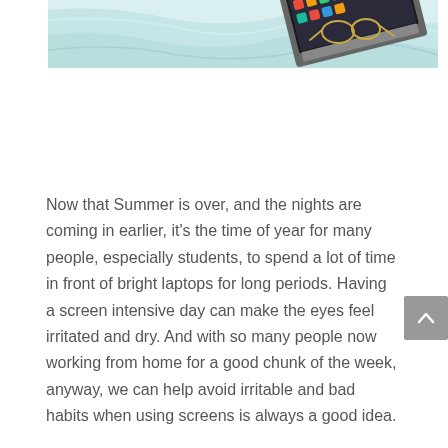[Figure (photo): Top-down view of a laptop on white bedding/sheets with glasses nearby, showing a screen with colorful icons]
Now that Summer is over, and the nights are coming in earlier, it's the time of year for many people, especially students, to spend a lot of time in front of bright laptops for long periods. Having a screen intensive day can make the eyes feel irritated and dry. And with so many people now working from home for a good chunk of the week, anyway, we can help avoid irritable and bad habits when using screens is always a good idea.